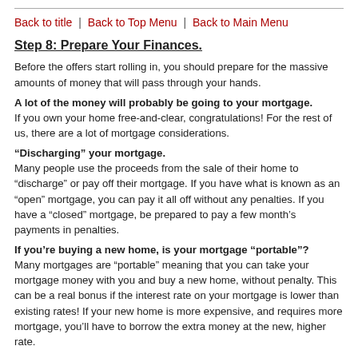Back to title | Back to Top Menu | Back to Main Menu
Step 8: Prepare Your Finances.
Before the offers start rolling in, you should prepare for the massive amounts of money that will pass through your hands.
A lot of the money will probably be going to your mortgage. If you own your home free-and-clear, congratulations! For the rest of us, there are a lot of mortgage considerations.
“Discharging” your mortgage. Many people use the proceeds from the sale of their home to “discharge” or pay off their mortgage. If you have what is known as an “open” mortgage, you can pay it all off without any penalties. If you have a “closed” mortgage, be prepared to pay a few month’s payments in penalties.
If you’re buying a new home, is your mortgage “portable”? Many mortgages are “portable” meaning that you can take your mortgage money with you and buy a new home, without penalty. This can be a real bonus if the interest rate on your mortgage is lower than existing rates! If your new home is more expensive, and requires more mortgage, you’ll have to borrow the extra money at the new, higher rate.
Maybe the buyer is “assuming” your mortgage.